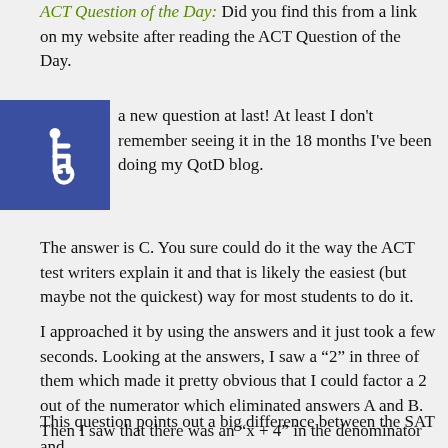ACT Question of the Day: Did you find this from a link on my website after reading the ACT Question of the Day.
[Figure (illustration): Blue square accessibility/wheelchair icon]
a new question at last!  At least I don't remember seeing it in the 18 months I've been doing my QotD blog.
The answer is C.  You sure could do it the way the ACT test writers explain it and that is likely the easiest (but maybe not the quickest) way for most students to do it.
I approached it by using the answers and it just took a few seconds.  Looking at the answers, I saw a “2” in three of them which made it pretty obvious that I could factor a 2 out of the numerator which eliminated answers A and B.  Then I saw that there was an “x + 4” in the denominator which eliminated any answer with an “x + 4” in it leaving me with Answer C.  Then I quickly checked my work by seeing if 2(x +3)(x + 4) equaled the original numerator.  Yes, it does.  All done.
This question points out a big difference between the SAT and